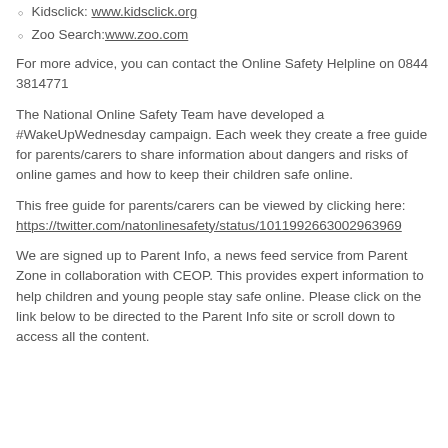Kidsclick: www.kidsclick.org
Zoo Search: www.zoo.com
For more advice, you can contact the Online Safety Helpline on 0844 3814771
The National Online Safety Team have developed a #WakeUpWednesday campaign. Each week they create a free guide for parents/carers to share information about dangers and risks of online games and how to keep their children safe online.
This free guide for parents/carers can be viewed by clicking here: https://twitter.com/natonlinesafety/status/101199226630029639696
We are signed up to Parent Info, a news feed service from Parent Zone in collaboration with CEOP. This provides expert information to help children and young people stay safe online. Please click on the link below to be directed to the Parent Info site or scroll down to access all the content.